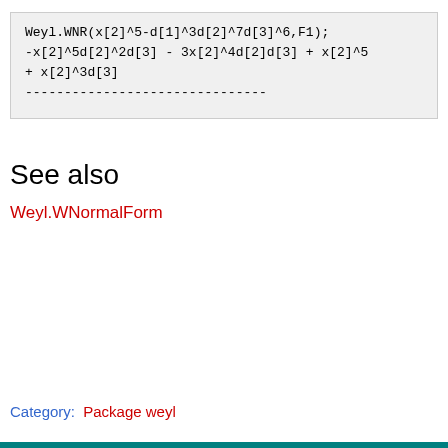See also
Weyl.WNormalForm
Category:  Package weyl